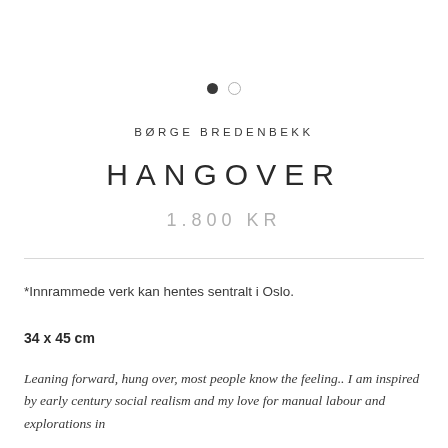[Figure (other): Two navigation dots: one filled dark circle and one empty/outline circle, indicating a slideshow indicator]
BØRGE BREDENBEKK
HANGOVER
1.800 KR
*Innrammede verk kan hentes sentralt i Oslo.
34 x 45 cm
Leaning forward, hung over, most people know the feeling.. I am inspired by early century social realism and my love for manual labour and explorations in